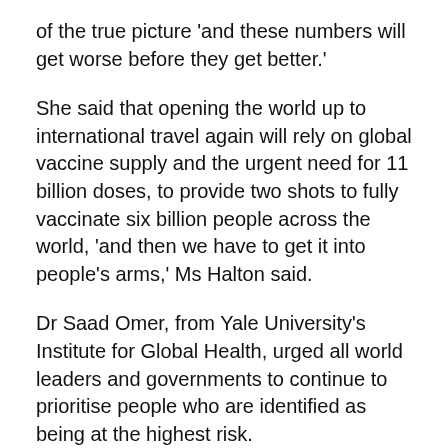of the true picture 'and these numbers will get worse before they get better.'
She said that opening the world up to international travel again will rely on global vaccine supply and the urgent need for 11 billion doses, to provide two shots to fully vaccinate six billion people across the world, 'and then we have to get it into people's arms,' Ms Halton said.
Dr Saad Omer, from Yale University's Institute for Global Health, urged all world leaders and governments to continue to prioritise people who are identified as being at the highest risk.
'Having access to vaccines is a privilege in this world and the only way we can be worthy of this privilege is by paying it forward. And the only way to get it forward is by paying for it, by giving it…